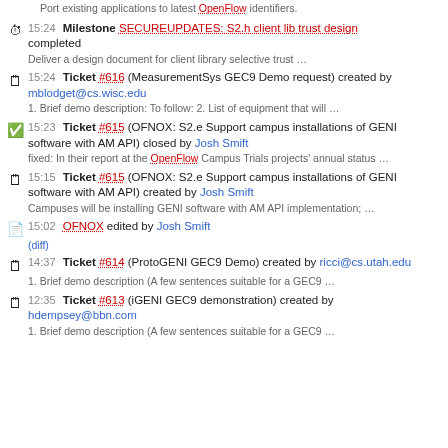Port existing applications to latest OpenFlow identifiers.
15:24 Milestone SECUREUPDATES: S2.h client lib trust design completed
Deliver a design document for client library selective trust …
15:24 Ticket #616 (MeasurementSys GEC9 Demo request) created by mblodget@cs.wisc.edu
1. Brief demo description: To follow: 2. List of equipment that will …
15:23 Ticket #615 (OFNOX: S2.e Support campus installations of GENI software with AM API) closed by Josh Smift
fixed: In their report at the OpenFlow Campus Trials projects' annual status …
15:15 Ticket #615 (OFNOX: S2.e Support campus installations of GENI software with AM API) created by Josh Smift
Campuses will be installing GENI software with AM API implementation; …
15:02 OFNOX edited by Josh Smift
(diff)
14:37 Ticket #614 (ProtoGENI GEC9 Demo) created by ricci@cs.utah.edu
1. Brief demo description (A few sentences suitable for a GEC9 …
12:35 Ticket #613 (iGENI GEC9 demonstration) created by hdempsey@bbn.com
1. Brief demo description (A few sentences suitable for a GEC9 …